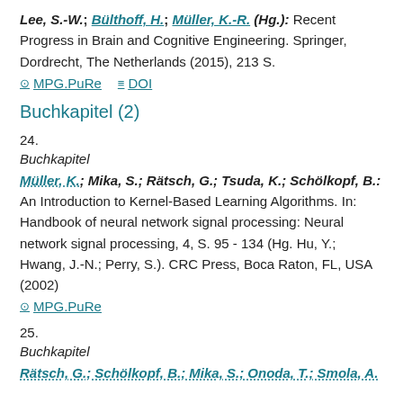Lee, S.-W.; Bülthoff, H.; Müller, K.-R. (Hg.): Recent Progress in Brain and Cognitive Engineering. Springer, Dordrecht, The Netherlands (2015), 213 S.
MPG.PuRe   DOI
Buchkapitel (2)
24.
Buchkapitel
Müller, K.; Mika, S.; Rätsch, G.; Tsuda, K.; Schölkopf, B.: An Introduction to Kernel-Based Learning Algorithms. In: Handbook of neural network signal processing: Neural network signal processing, 4, S. 95 - 134 (Hg. Hu, Y.; Hwang, J.-N.; Perry, S.). CRC Press, Boca Raton, FL, USA (2002)
MPG.PuRe
25.
Buchkapitel
Rätsch, G.; Schölkopf, B.; Mika, S.; Onoda, T.; Smola, A.